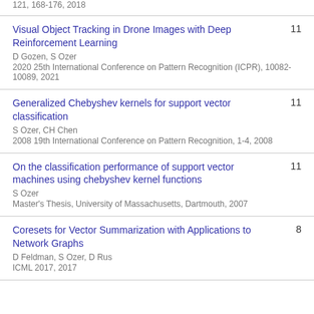121, 168-176, 2018
Visual Object Tracking in Drone Images with Deep Reinforcement Learning
D Gozen, S Ozer
2020 25th International Conference on Pattern Recognition (ICPR), 10082-10089, 2021
11
Generalized Chebyshev kernels for support vector classification
S Ozer, CH Chen
2008 19th International Conference on Pattern Recognition, 1-4, 2008
11
On the classification performance of support vector machines using chebyshev kernel functions
S Ozer
Master's Thesis, University of Massachusetts, Dartmouth, 2007
11
Coresets for Vector Summarization with Applications to Network Graphs
D Feldman, S Ozer, D Rus
ICML 2017, 2017
8